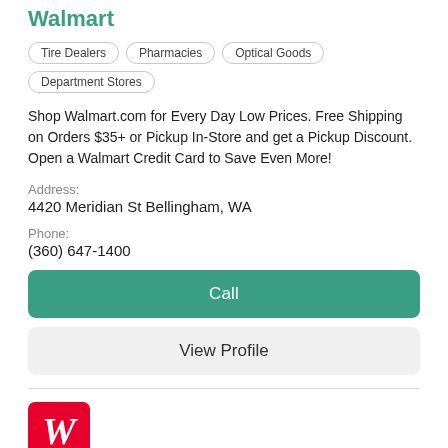Walmart
Tire Dealers
Pharmacies
Optical Goods
Department Stores
Shop Walmart.com for Every Day Low Prices. Free Shipping on Orders $35+ or Pickup In-Store and get a Pickup Discount. Open a Walmart Credit Card to Save Even More!
Address:
4420 Meridian St Bellingham, WA
Phone:
(360) 647-1400
Call
View Profile
[Figure (logo): Walgreens logo — red square with white cursive W and red speech-bubble pointer]
Walgreens